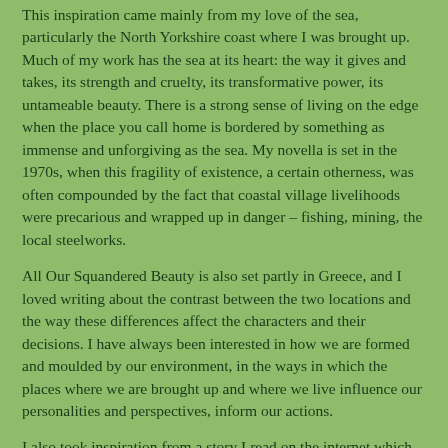This inspiration came mainly from my love of the sea, particularly the North Yorkshire coast where I was brought up. Much of my work has the sea at its heart: the way it gives and takes, its strength and cruelty, its transformative power, its untameable beauty. There is a strong sense of living on the edge when the place you call home is bordered by something as immense and unforgiving as the sea. My novella is set in the 1970s, when this fragility of existence, a certain otherness, was often compounded by the fact that coastal village livelihoods were precarious and wrapped up in danger – fishing, mining, the local steelworks.
All Our Squandered Beauty is also set partly in Greece, and I loved writing about the contrast between the two locations and the way these differences affect the characters and their decisions. I have always been interested in how we are formed and moulded by our environment, in the ways in which the places where we are brought up and where we live influence our personalities and perspectives, inform our actions.
I also took inspiration from a story I read on the internet which explored the near-impossible dilemma when a loved one is presumed dead without their body ever being recovered, and how incredibly hard it is to hope and grieve at the same time. This was